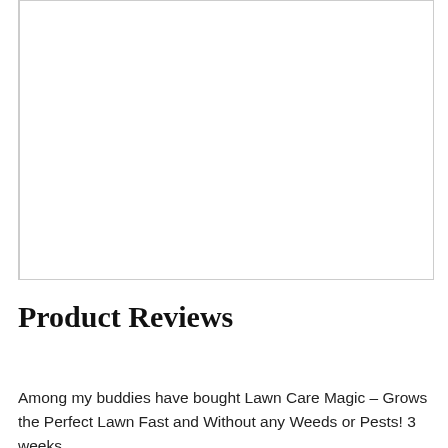[Figure (other): Empty white rectangle with border, placeholder image area]
Product Reviews
Among my buddies have bought Lawn Care Magic – Grows the Perfect Lawn Fast and Without any Weeds or Pests! 3 weeks